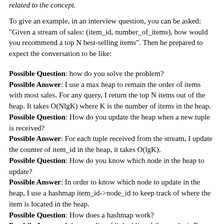related to the concept.
To give an example, in an interview question, you can be asked: "Given a stream of sales: (item_id, number_of_items), how would you recommend a top N best-selling items". Then be prepared to expect the conversation to be like:
Possible Question: how do you solve the problem?
Possible Answer: I use a max heap to remain the order of items with most sales. For any query, I return the top N items out of the heap. It takes O(NlgK) where K is the number of items in the heap.
Possible Question: How do you update the heap when a new tuple is received?
Possible Answer: For each tuple received from the stream, I update the counter of item_id in the heap, it takes O(lgK).
Possible Question: How do you know which node in the heap to update?
Possible Answer: In order to know which node to update in the heap, I use a hashmap item_id->node_id to keep track of where the item is located in the heap.
Possible Question: How does a hashmap work?
Possbile Answer: It keeps a list of linked list of (key, value). For